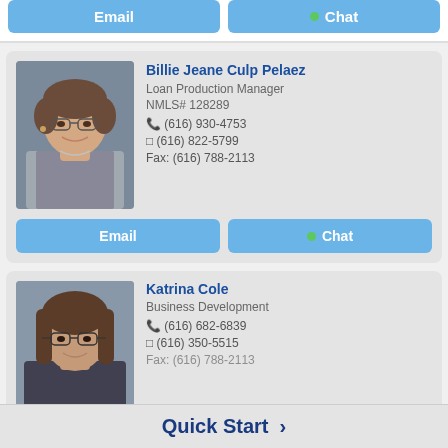Email | Chat
[Figure (photo): Photo of Billie Jeane Culp Pelaez, a middle-aged woman with short curly hair, glasses, and a patterned blazer]
Billie Jeane Culp Pelaez
Loan Production Manager
NMLS# 128289
(616) 930-4753
(616) 822-5799
Fax: (616) 788-2113
Email | Chat
[Figure (photo): Photo of Katrina Cole, a young woman with long brown hair and glasses]
Katrina Cole
Business Development
(616) 682-6839
(616) 350-5515
Fax: (616) 788-2113
Quick Start >